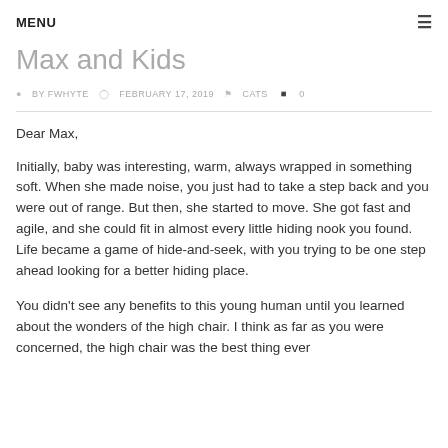MENU ≡
Max and Kids
BY FWHYTE  FEBRUARY 17, 2019  CATS  0
Dear Max,
Initially, baby was interesting, warm, always wrapped in something soft. When she made noise, you just had to take a step back and you were out of range. But then, she started to move. She got fast and agile, and she could fit in almost every little hiding nook you found. Life became a game of hide-and-seek, with you trying to be one step ahead looking for a better hiding place.
You didn't see any benefits to this young human until you learned about the wonders of the high chair. I think as far as you were concerned, the high chair was the best thing ever